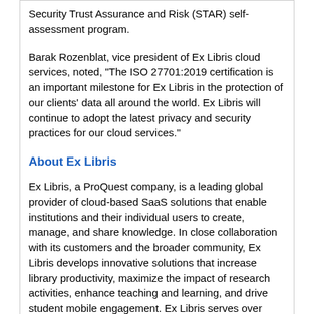Security Trust Assurance and Risk (STAR) self-assessment program.
Barak Rozenblat, vice president of Ex Libris cloud services, noted, "The ISO 27701:2019 certification is an important milestone for Ex Libris in the protection of our clients' data all around the world. Ex Libris will continue to adopt the latest privacy and security practices for our cloud services."
About Ex Libris
Ex Libris, a ProQuest company, is a leading global provider of cloud-based SaaS solutions that enable institutions and their individual users to create, manage, and share knowledge. In close collaboration with its customers and the broader community, Ex Libris develops innovative solutions that increase library productivity, maximize the impact of research activities, enhance teaching and learning, and drive student mobile engagement. Ex Libris serves over 7,500 customers in 90 countries. For more information, see our website and join us on LinkedIn, YouTube, Facebook, and Twitter.
Ex Libris, a ProQuest company, announced that the company has achieved certification